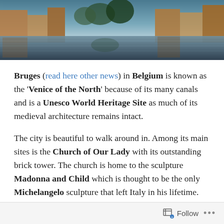[Figure (photo): Aerial or wide-angle photograph of Bruges canal with reflections and medieval buildings]
Bruges (read here other news) in Belgium is known as the 'Venice of the North' because of its many canals and is a Unesco World Heritage Site as much of its medieval architecture remains intact.
The city is beautiful to walk around in. Among its main sites is the Church of Our Lady with its outstanding brick tower. The church is home to the sculpture Madonna and Child which is thought to be the only Michelangelo sculpture that left Italy in his lifetime.
Follow ...